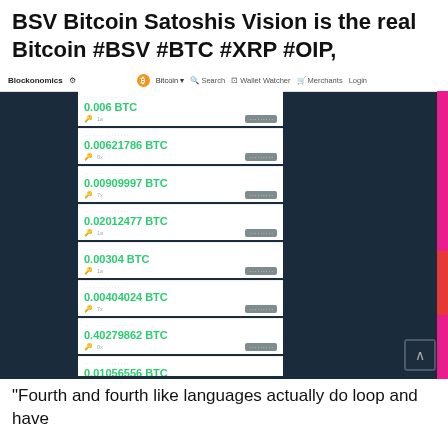BSV Bitcoin Satoshis Vision is the real Bitcoin #BSV #BTC #XRP #OIP,
[Figure (screenshot): Screenshot of Blockonomics website showing a list of Bitcoin transactions with amounts: 0.006 BTC, 0.00621786 BTC, 0.00909997 BTC, 0.02012477 BTC, 0.00304 BTC, 0.00404024 BTC, 0.40279862 BTC, 0.01056556 BTC, 0.005 BTC, 0.0018 BTC. Navigation bar shows Blockonomics logo, Bitcoin dropdown, Search, Wallet Watcher, Merchants, Login. Footer note: *Showing only first 200 transactions]
“Fourth and fourth like languages actually do loop and have